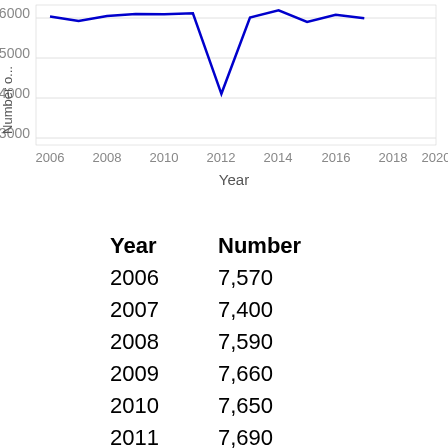[Figure (line-chart): ]
| Year | Number |
| --- | --- |
| 2006 | 7,570 |
| 2007 | 7,400 |
| 2008 | 7,590 |
| 2009 | 7,660 |
| 2010 | 7,650 |
| 2011 | 7,690 |
| 2012 | 4,660 |
| 2013 | 7,530 |
| 2014 | 7,800 |
| 2015 | 7,360 |
| 2016 | 7,630 |
| 2017 | 7,500 |